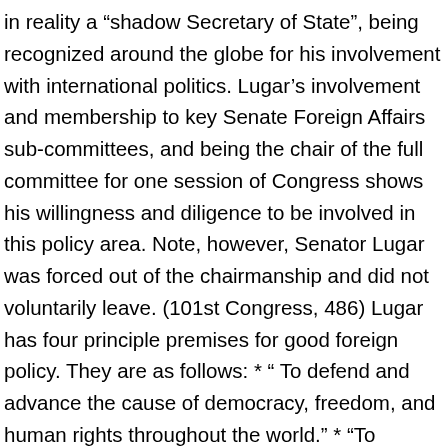in reality a “shadow Secretary of State”, being recognized around the globe for his involvement with international politics. Lugar’s involvement and membership to key Senate Foreign Affairs sub-committees, and being the chair of the full committee for one session of Congress shows his willingness and diligence to be involved in this policy area. Note, however, Senator Lugar was forced out of the chairmanship and did not voluntarily leave. (101st Congress, 486) Lugar has four principle premises for good foreign policy. They are as follows: * “ To defend and advance the cause of democracy, freedom, and human rights throughout the world.” * “To promote prosperity and social progress through a free, open, and expanding market-oriented global economy.” * “To work diplomatically to help resolve dangerous regional conflicts.” * “To work to reduce and eventually eliminate the danger of